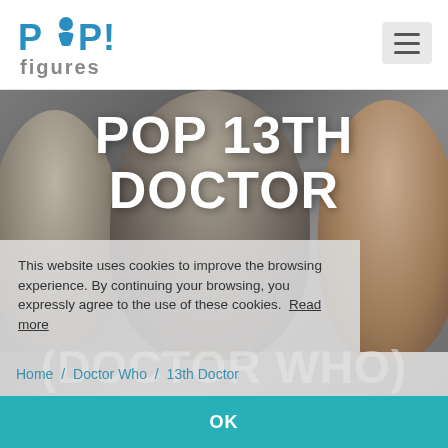PIP! figures - navigation header
[Figure (photo): Hero background showing three Funko Pop vinyl figures (Doctor Who characters) with grey semi-transparent overlay]
POP 13TH DOCTOR
(DOCTOR WHO)
This website uses cookies to improve the browsing experience. By continuing your browsing, you expressly agree to the use of these cookies.  Read more
Home / Doctor Who / 13th Doctor
OK